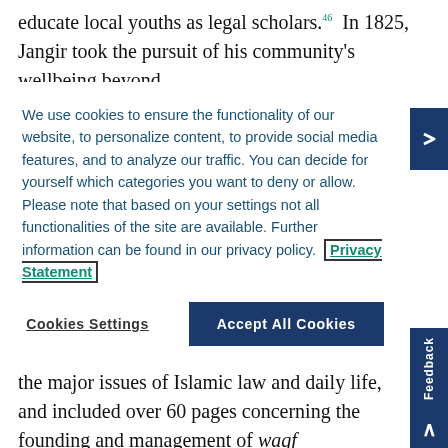educate local youths as legal scholars.⁴⁶  In 1825, Jangir took the pursuit of his community's wellbeing beyond
We use cookies to ensure the functionality of our website, to personalize content, to provide social media features, and to analyze our traffic. You can decide for yourself which categories you want to deny or allow. Please note that based on your settings not all functionalities of the site are available. Further information can be found in our privacy policy.  Privacy Statement
Cookies Settings
Accept All Cookies
the Kazakhs of the Inner Horde. Among the books held in his personal library was a 900-page mas'ala-jawab book composed between the 1820s and the 1840s. It addressed most of the major issues of Islamic law and daily life, and included over 60 pages concerning the founding and management of waqf endowments as well as a section on zakat. This text contains one of the most detailed discussions of